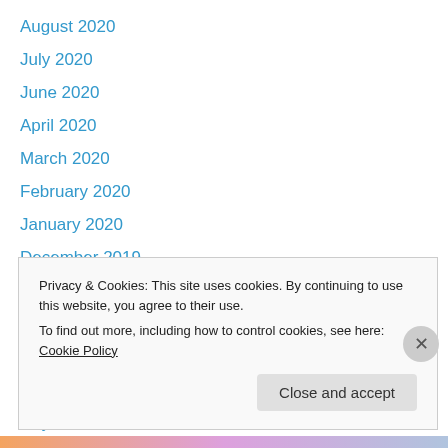August 2020
July 2020
June 2020
April 2020
March 2020
February 2020
January 2020
December 2019
November 2019
October 2019
September 2019
August 2019
July 2019
Privacy & Cookies: This site uses cookies. By continuing to use this website, you agree to their use. To find out more, including how to control cookies, see here: Cookie Policy
Close and accept